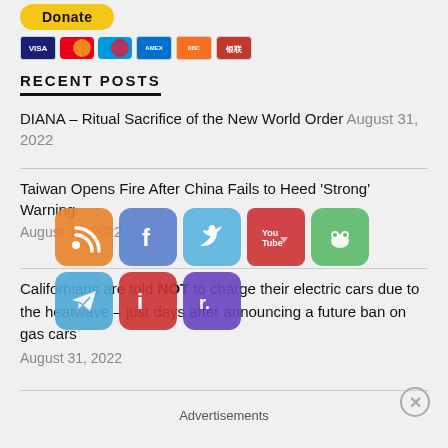[Figure (other): Donate button with PayPal and credit card payment icons (Visa, Mastercard, Maestro, Amex, Discover, UnionPay)]
RECENT POSTS
DIANA – Ritual Sacrifice of the New World Order August 31, 2022
Taiwan Opens Fire After China Fails to Heed 'Strong' Warning August 31, 2022
[Figure (other): Social media sharing icons overlay: RSS, Facebook, Twitter, YouTube, Frog/Gab, Telegram, Infowars, Rumble]
Californians are told NOT to charge their electric cars due to the heatwave – just days after announcing a future ban on gas cars August 31, 2022
Advertisements